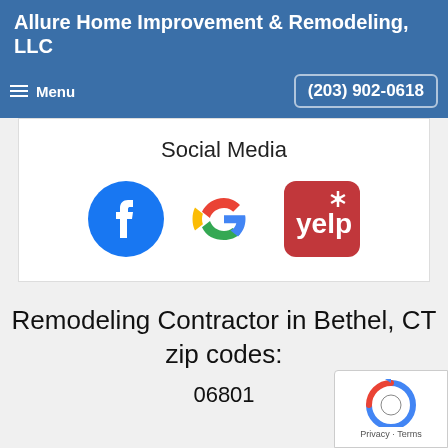Allure Home Improvement & Remodeling, LLC
Menu  (203) 902-0618
Social Media
[Figure (logo): Facebook, Google, and Yelp social media icons displayed in a row]
Remodeling Contractor in Bethel, CT zip codes:
06801
[Figure (other): reCAPTCHA badge with Privacy - Terms text]